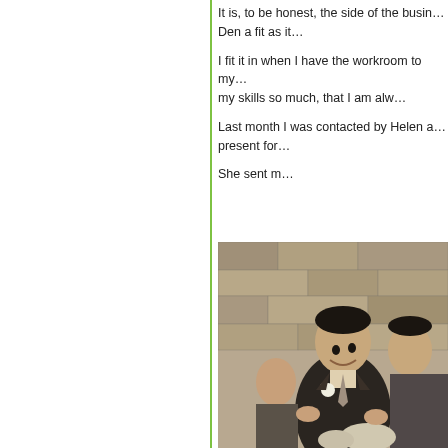It is, to be honest, the side of the busi… Den a fit as it…
I fit it in when I have the workroom to my… my skills so much, that I am alw…
Last month I was contacted by Helen a… present for…
She sent m…
[Figure (photo): Black and white photograph of a man in a dark double-breasted suit with a white flower buttonhole, smiling, standing in front of a stone wall, likely at a wedding.]